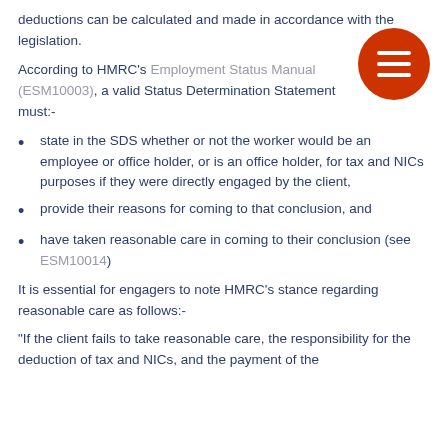deductions can be calculated and made in accordance with the legislation.
According to HMRC’s Employment Status Manual (ESM10003), a valid Status Determination Statement must:-
state in the SDS whether or not the worker would be an employee or office holder, or is an office holder, for tax and NICs purposes if they were directly engaged by the client,
provide their reasons for coming to that conclusion, and
have taken reasonable care in coming to their conclusion (see ESM10014)
It is essential for engagers to note HMRC’s stance regarding reasonable care as follows:-
“If the client fails to take reasonable care, the responsibility for the deduction of tax and NICs, and the payment of the